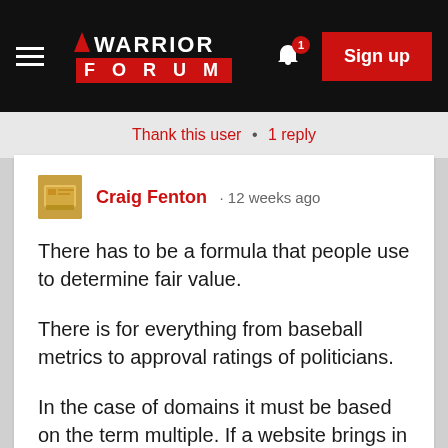Warrior Forum · Sign up
Thank this user · 1 reply
Craig Fenton · 12 weeks ago

There has to be a formula that people use to determine fair value.

There is for everything from baseball metrics to approval ratings of politicians.

In the case of domains it must be based on the term multiple. If a website brings in x for a year revenue it is worthy times that